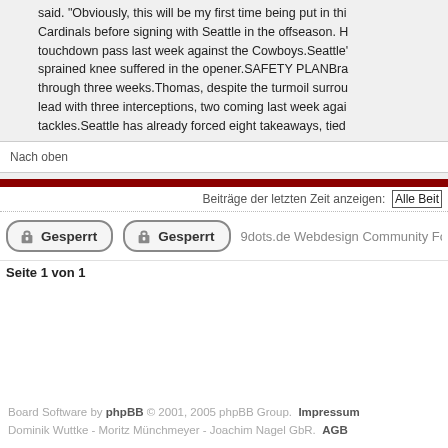said. "Obviously, this will be my first time being put in this Cardinals before signing with Seattle in the offseason. H touchdown pass last week against the Cowboys.Seattle' sprained knee suffered in the opener.SAFETY PLANBra through three weeks.Thomas, despite the turmoil surrou lead with three interceptions, two coming last week agai tackles.Seattle has already forced eight takeaways, tied
Nach oben
Beiträge der letzten Zeit anzeigen:   Alle Beit
Gesperrt   Gesperrt   9dots.de Webdesign Community Foren-Übersicht ->
Seite 1 von 1
Board Software by phpBB © 2001, 2005 phpBB Group. Impressum Dominik Wuttke - Moritz Münchmeyer - Joachim Nagel GbR. AGB